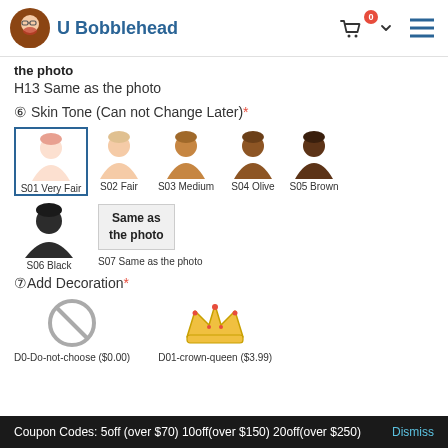U Bobblehead
the photo
H13 Same as the photo
⑥ Skin Tone (Can not Change Later)*
[Figure (illustration): Five skin tone selector icons: S01 Very Fair, S02 Fair, S03 Medium, S04 Olive, S05 Brown]
[Figure (illustration): Two skin tone selector icons: S06 Black and S07 Same as the photo]
⑦Add Decoration*
[Figure (illustration): D0-Do-not-choose ($0.00) — a no-symbol icon; D01-crown-queen ($3.99) — a crown icon]
Coupon Codes: 5off (over $70) 10off(over $150) 20off(over $250) Dismiss